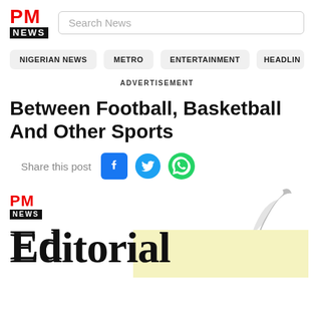PM NEWS
Search News
NIGERIAN NEWS  METRO  ENTERTAINMENT  HEADLIN
ADVERTISEMENT
Between Football, Basketball And Other Sports
Share this post
[Figure (screenshot): PM News Editorial image with logo, quill feather graphic, large 'Editorial' text, and a yellow overlay rectangle]